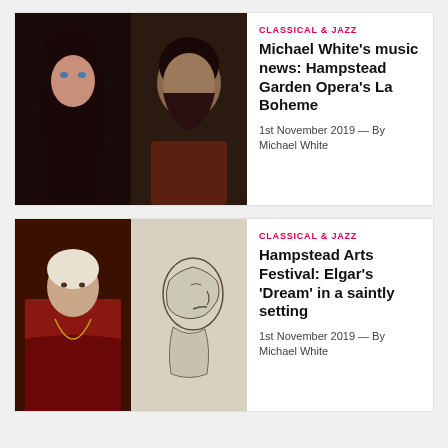[Figure (photo): Two photos side by side: a woman with dark hair (left) and a bearded man (right), for article about Hampstead Garden Opera's La Boheme]
CLASSICAL & JAZZ
Michael White's music news: Hampstead Garden Opera's La Boheme
1st November 2019 — By Michael White
[Figure (photo): Two images side by side: a portrait of a cardinal in red robes (left) and a pencil sketch of an elderly man's profile (right), for article about Hampstead Arts Festival]
CLASSICAL & JAZZ
Hampstead Arts Festival: Elgar's 'Dream' in a saintly setting
1st November 2019 — By Michael White